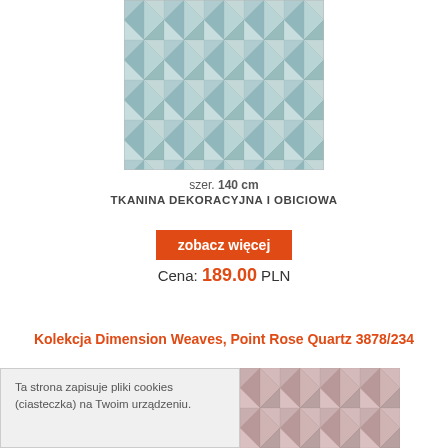[Figure (photo): Textile fabric with geometric angular faceted pattern in light blue/teal tones]
szer. 140 cm
TKANINA DEKORACYJNA I OBICIOWA
zobacz więcej
Cena: 189.00 PLN
Kolekcja Dimension Weaves, Point Rose Quartz 3878/234
Ta strona zapisuje pliki cookies (ciasteczka) na Twoim urządzeniu.
[Figure (photo): Textile fabric with geometric angular faceted pattern in mauve/rose tones]